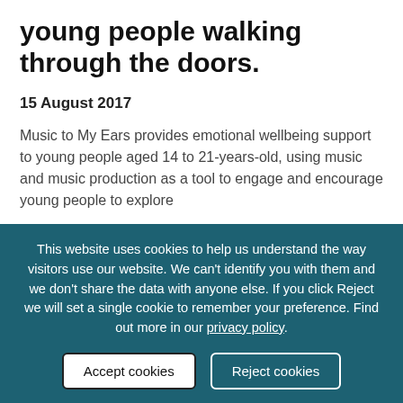young people walking through the doors.
15 August 2017
Music to My Ears provides emotional wellbeing support to young people aged 14 to 21-years-old, using music and music production as a tool to engage and encourage young people to explore
This website uses cookies to help us understand the way visitors use our website. We can't identify you with them and we don't share the data with anyone else. If you click Reject we will set a single cookie to remember your preference. Find out more in our privacy policy.
Accept cookies
Reject cookies